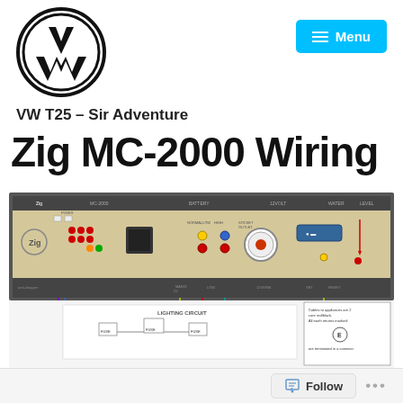[Figure (logo): VW (Volkswagen) circular logo in black and white]
VW T25 – Sir Adventure
Zig MC-2000 Wiring
[Figure (engineering-diagram): Zig MC-2000 wiring diagram showing the unit panel with colored wiring connections, lighting circuit, battery, 12V, water and level indicators, fuses, and related circuit connections]
Follow ...